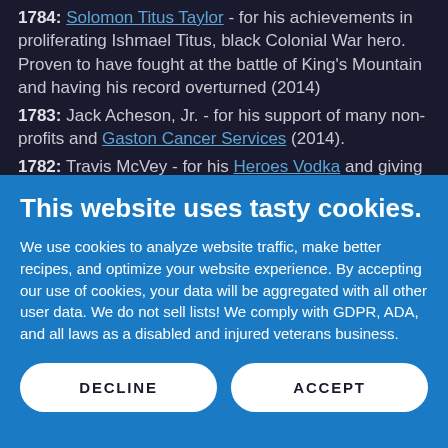1784: Solomon Titus Taylor - for his achievements in proliferating Ishmael Titus, black Colonial War hero. Proven to have fought at the battle of King's Mountain and having his record overturned (2014)
1783: Jack Acheson, Jr. - for his support of many non-profits and Gaston Cancer Services (2014).
1782: Travis McVey - for his Heroes Vodka and giving
This website uses tasty cookies.
We use cookies to analyze website traffic, make better recipes, and optimize your website experience. By accepting our use of cookies, your data will be aggregated with all other user data. We do not sell lists! We comply with GDPR, ADA, and all laws as a disabled and injured veterans business.